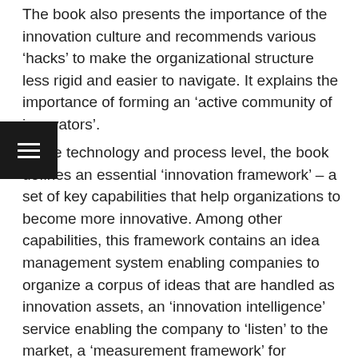The book also presents the importance of the innovation culture and recommends various ‘hacks’ to make the organizational structure less rigid and easier to navigate. It explains the importance of forming an ‘active community of innovators’.
At the technology and process level, the book defines an essential ‘innovation framework’ – a set of key capabilities that help organizations to become more innovative. Among other capabilities, this framework contains an idea management system enabling companies to organize a corpus of ideas that are handled as innovation assets, an ‘innovation intelligence’ service enabling the company to ‘listen’ to the market, a ‘measurement framework’ for innovation along with components for effective ‘information and knowledge sharing’.